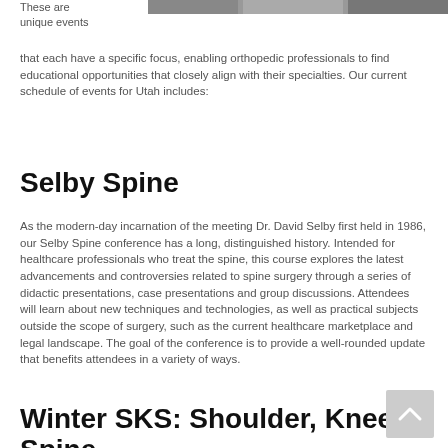[Figure (photo): Partial photo strip showing people, cropped at top of page]
These are unique events that each have a specific focus, enabling orthopedic professionals to find educational opportunities that closely align with their specialties. Our current schedule of events for Utah includes:
Selby Spine
As the modern-day incarnation of the meeting Dr. David Selby first held in 1986, our Selby Spine conference has a long, distinguished history. Intended for healthcare professionals who treat the spine, this course explores the latest advancements and controversies related to spine surgery through a series of didactic presentations, case presentations and group discussions. Attendees will learn about new techniques and technologies, as well as practical subjects outside the scope of surgery, such as the current healthcare marketplace and legal landscape. The goal of the conference is to provide a well-rounded update that benefits attendees in a variety of ways.
Winter SKS: Shoulder, Knee & Spine